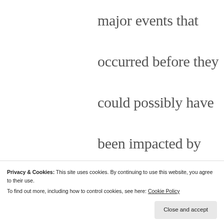major events that occurred before they could possibly have been impacted by them in any notable way. I see this phenomenon playing out now with 9/11, where people who were just 8 years old in 2001 are
Privacy & Cookies: This site uses cookies. By continuing to use this website, you agree to their use.
To find out more, including how to control cookies, see here: Cookie Policy
Close and accept